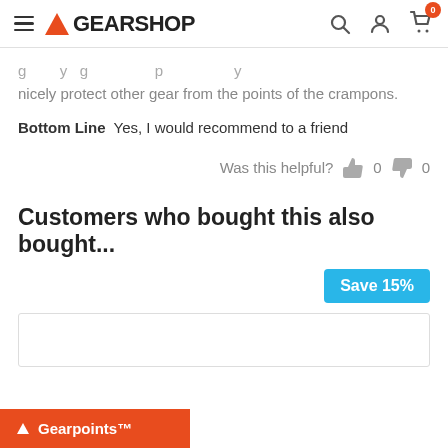GEARSHOP
nicely protect other gear from the points of the crampons.
Bottom Line  Yes, I would recommend to a friend
Was this helpful?  0  0
Customers who bought this also bought...
Save 15%
Gearpoints™